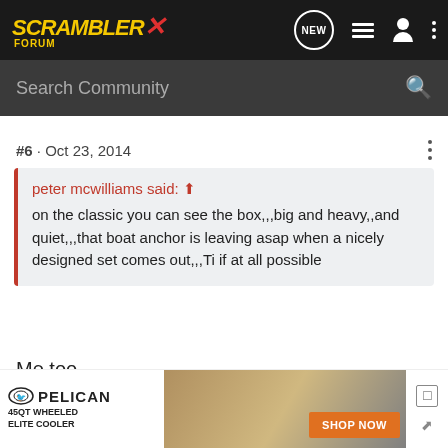SCRAMBLER FORUM
Search Community
#6 · Oct 23, 2014
peter mcwilliams said: ↑ on the classic you can see the box,,,big and heavy,,and quiet,,,that boat anchor is leaving asap when a nicely designed set comes out,,,Ti if at all possible
Me too